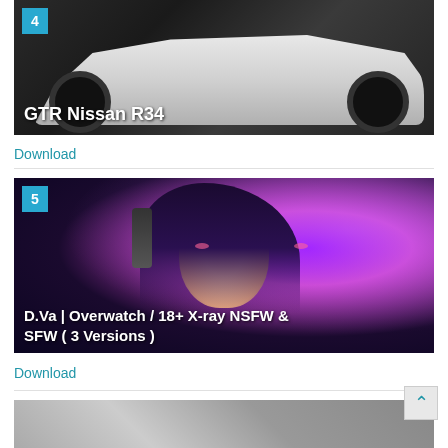[Figure (photo): White Nissan GT-R R34 sports car with wide-body kit, black wheels, and Japanese text on the door. Number badge '4' in cyan/teal square in top-left corner. Title 'GTR Nissan R34' overlaid on bottom-left.]
Download
[Figure (illustration): Anime-style illustration of D.Va character from Overwatch with headphones, long dark hair, pink highlights, against a purple/magenta glowing background. Number badge '5' in cyan/teal square. Title 'D.Va | Overwatch / 18+ X-ray NSFW & SFW ( 3 Versions )' overlaid at bottom.]
Download
[Figure (illustration): Partial view of another anime illustration at the bottom of the page.]